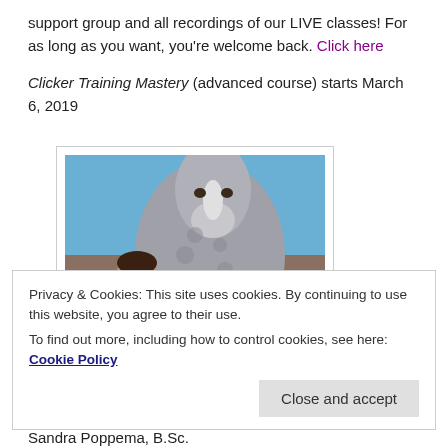support group and all recordings of our LIVE classes! For as long as you want, you're welcome back. Click here
Clicker Training Mastery (advanced course) starts March 6, 2019
[Figure (photo): Photo of Sandra Poppema with a grey horse, outdoors, blue sky background]
Sandra Poppema, B.Sc.
I help horse owners get the results in training they really,
Privacy & Cookies: This site uses cookies. By continuing to use this website, you agree to their use. To find out more, including how to control cookies, see here: Cookie Policy
Close and accept
Follow my blog on Bloglovin